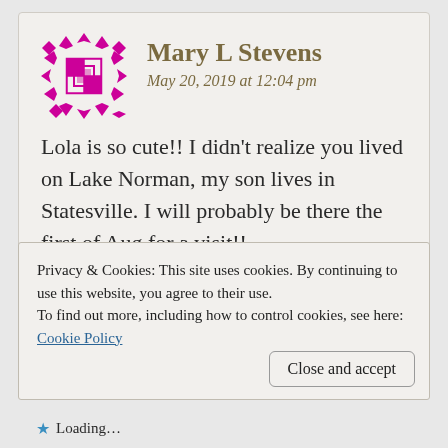[Figure (illustration): Magenta/pink geometric quilt-pattern avatar icon for user Mary L Stevens]
Mary L Stevens
May 20, 2019 at 12:04 pm
Lola is so cute!! I didn’t realize you lived on Lake Norman, my son lives in Statesville. I will probably be there the first of Aug for a visit!!
★ Loading...
Reply
Privacy & Cookies: This site uses cookies. By continuing to use this website, you agree to their use.
To find out more, including how to control cookies, see here:
Cookie Policy
Close and accept
★ Loading...